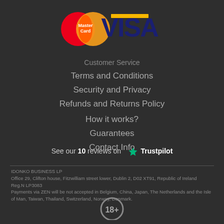[Figure (logo): MasterCard and VISA payment logos]
Customer Service
Terms and Conditions
Security and Privacy
Refunds and Returns Policy
How it works?
Guarantees
Contact Info
See our 10 reviews on ★ Trustpilot
IDONKO BUSINESS LP
Office 29, Clifton house, Fitzwilliam street lower, Dublin 2, D02 XT91, Republic of Ireland
Reg.N LP3083
Payments via ZEN will be not accepted in Belgium, China, Japan, The Netherlands and the Isle of Man, Taiwan, Thailand, Switzerland, Norway, Denmark.
[Figure (illustration): 18+ age restriction badge]